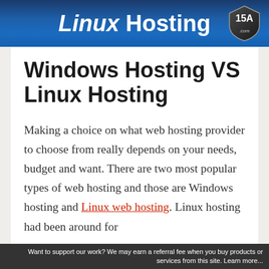[Figure (logo): Linux Hosting banner with blue gradient background, bold white text reading 'Linux Hosting' and a shield/badge logo on the right]
Windows Hosting VS Linux Hosting
Making a choice on what web hosting provider to choose from really depends on your needs, budget and want. There are two most popular types of web hosting and those are Windows hosting and Linux web hosting. Linux hosting had been around for
Want to support our work? We may earn a referral fee when you buy products or services from this site. Learn more...